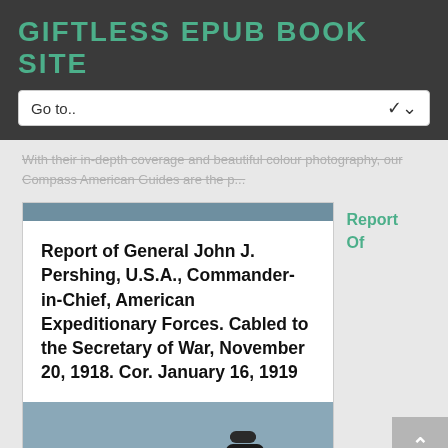GIFTLESS EPUB BOOK SITE
Go to..
With their in-depth coverage and beautiful colour photography, our Compass American Guides are the p...
[Figure (illustration): Book cover card showing title text 'Report of General John J. Pershing, U.S.A., Commander-in-Chief, American Expeditionary Forces. Cabled to the Secretary of War, November 20, 1918. Cor. January 16, 1919' on white background with teal header bar and lower section with stacked stones image]
Report Of